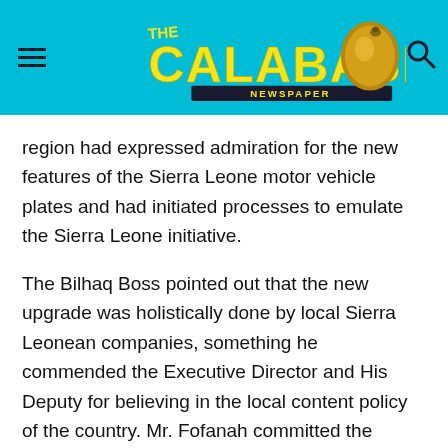[Figure (logo): The Calabash Newspaper logo with yellow bold text on cyan/blue background with a decorative calabash gourd image]
region had expressed admiration for the new features of the Sierra Leone motor vehicle plates and had initiated processes to emulate the Sierra Leone initiative.
The Bilhaq Boss pointed out that the new upgrade was holistically done by local Sierra Leonean companies, something he commended the Executive Director and His Deputy for believing in the local content policy of the country. Mr. Fofanah committed the supports of the companies to the mission and vision of the Authority assuring to work with the West African Standard in producing a more securitize motor vehicle number plates.